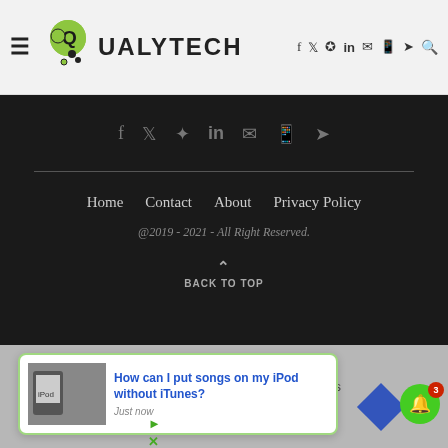QUALYTECH
Home  Contact  About  Privacy Policy
@2019 - 2021 - All Right Reserved.
BACK TO TOP
No compatible source was found for this playback.
How can I put songs on my iPod without iTunes?
Just now